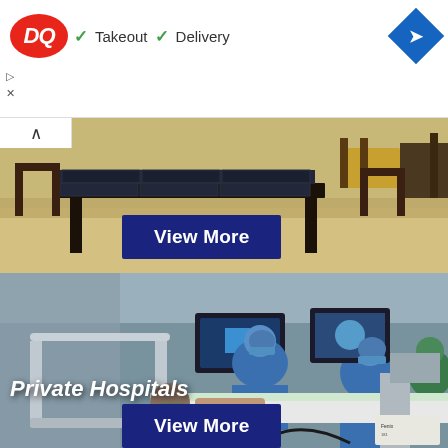[Figure (screenshot): DQ (Dairy Queen) advertisement banner with logo, checkmarks for Takeout and Delivery options, navigation diamond arrow icon, and ad controls (play and close buttons)]
[Figure (photo): Beach scene with dark wooden table covered with dark solar panels/mats, chairs, and sandy beach in the background. A 'View More' button overlay is shown.]
View More
[Figure (photo): Medical operating room scene showing surgeons and medical staff in blue scrubs and masks performing a procedure on a patient. Surgical lights and medical monitors visible. Text overlay reads 'Private Hospitals' with a 'View More' button below.]
Private Hospitals
View More